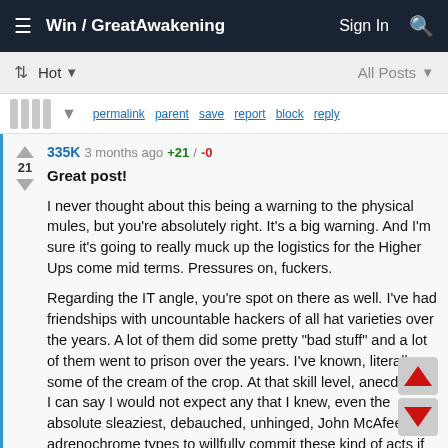Win / GreatAwakening  Sign In
Hot  All Posts
permalink  parent  save  report  block  reply
335K 3 months ago +21 / -0
Great post!
I never thought about this being a warning to the physical mules, but you're absolutely right. It's a big warning. And I'm sure it's going to really muck up the logistics for the Higher Ups come mid terms. Pressures on, fuckers.

Regarding the IT angle, you're spot on there as well. I've had friendships with uncountable hackers of all hat varieties over the years. A lot of them did some pretty "bad stuff" and a lot of them went to prison over the years. I've known, literally, some of the cream of the crop. At that skill level, anecdotally, I can say I would not expect any that I knew, even the absolute sleaziest, debauched, unhinged, John McAfee on adrenochrome types to willfully commit these kind of acts if they were aware of what they were doing. There's a variety